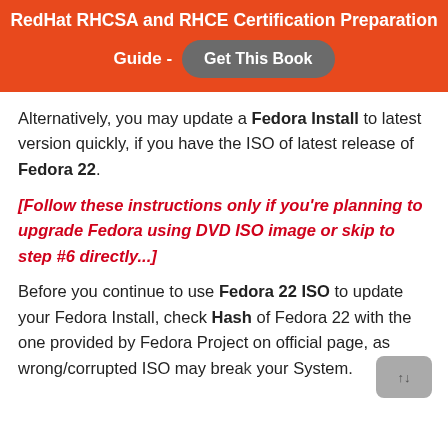RedHat RHCSA and RHCE Certification Preparation Guide - Get This Book
Alternatively, you may update a Fedora Install to latest version quickly, if you have the ISO of latest release of Fedora 22.
[Follow these instructions only if you’re planning to upgrade Fedora using DVD ISO image or skip to step #6 directly...]
Before you continue to use Fedora 22 ISO to update your Fedora Install, check Hash of Fedora 22 with the one provided by Fedora Project on official page, as wrong/corrupted ISO may break your System.